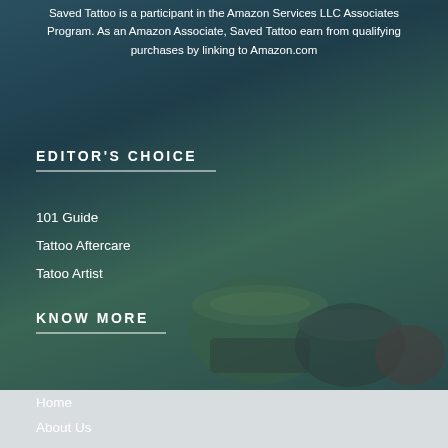Saved Tattoo is a participant in the Amazon Services LLC Associates Program. As an Amazon Associate, Saved Tattoo earn from qualifying purchases by linking to Amazon.com
EDITOR'S CHOICE
101 Guide
Tattoo Aftercare
Tatoo Artist
KNOW MORE
Home
About Us